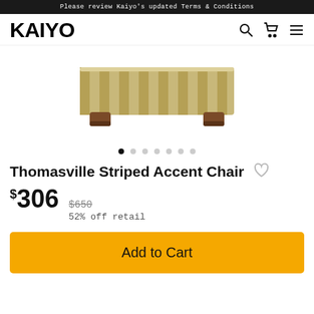Please review Kaiyo's updated Terms & Conditions
[Figure (logo): KAIYO logo in bold black lowercase letters]
[Figure (photo): Thomasville Striped Accent Chair shown from back — striped tan/beige upholstery with dark brown wooden feet]
Thomasville Striped Accent Chair
$306  $650  52% off retail